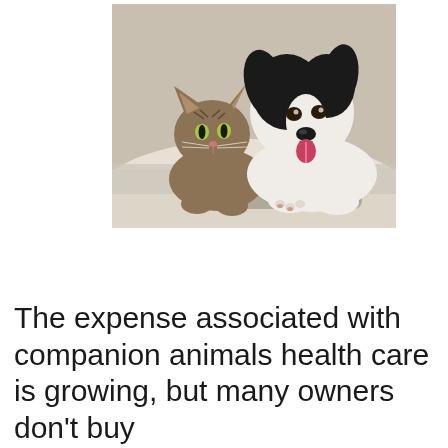[Figure (photo): A tabby cat and a black-and-white Border Collie dog lying together on a fluffy white cushion or pet bed, looking at the camera.]
The expense associated with companion animals health care is growing, but many owners don't buy